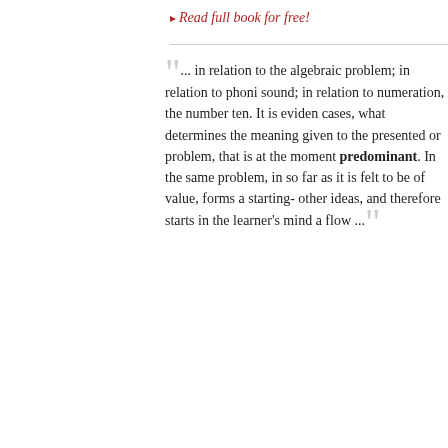▸ Read full book for free!
... in relation to the algebraic problem; in relation to phoni sound; in relation to numeration, the number ten. It is eviden cases, what determines the meaning given to the presented or problem, that is at the moment predominant. In the same problem, in so far as it is felt to be of value, forms a starting- other ideas, and therefore starts in the learner's mind a flow ...
— Ontario Normal School Manuals: Science of Education • Education
▸ Read full book for free!
This website uses cookies to ensure you get the best experience on our website. Learn more
Got it!
hippers of as never b s, they are . strong, ur g money f
— The Bertrams • Anthony Trollope